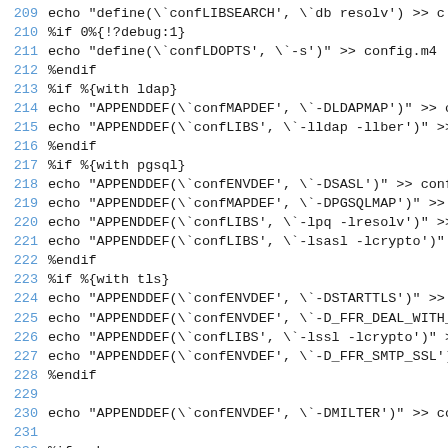Code listing lines 209-233 from a build/spec script
209  echo "define(\`confLIBSEARCH', \`db resolv')" >> c
210  %if 0%{!?debug:1}
211  echo "define(\`confLDOPTS', \`-s')" >> config.m4
212  %endif
213  %if %{with ldap}
214  echo "APPENDDEF(\`confMAPDEF', \`-DLDAPMAP')" >> co
215  echo "APPENDDEF(\`confLIBS', \`-lldap -llber')" >>
216  %endif
217  %if %{with pgsql}
218  echo "APPENDDEF(\`confENVDEF', \`-DSASL')" >> confi
219  echo "APPENDDEF(\`confMAPDEF', \`-DPGSQLMAP')" >> c
220  echo "APPENDDEF(\`confLIBS', \`-lpq -lresolv')" >>
221  echo "APPENDDEF(\`confLIBS', \`-lsasl -lcrypto')" >
222  %endif
223  %if %{with tls}
224  echo "APPENDDEF(\`confENVDEF', \`-DSTARTTLS')" >> c
225  echo "APPENDDEF(\`confENVDEF', \`-D_FFR_DEAL_WITH_E
226  echo "APPENDDEF(\`confLIBS', \`-lssl -lcrypto')" >>
227  echo "APPENDDEF(\`confENVDEF', \`-D_FFR_SMTP_SSL')"
228  %endif
229
230  echo "APPENDDEF(\`confENVDEF', \`-DMILTER')" >> cor
231
232  %ifarch sparc
233  %define         Build           sparc32 sh Build